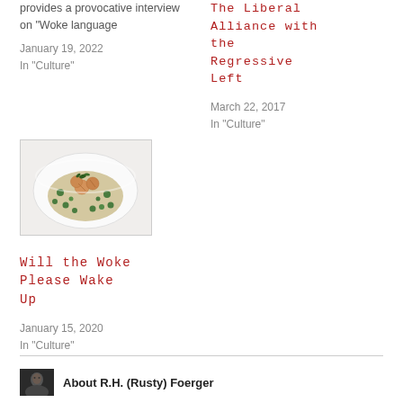provides a provocative interview on "Woke language
January 19, 2022
In "Culture"
The Liberal Alliance with the Regressive Left
March 22, 2017
In "Culture"
[Figure (photo): A plate of food: risotto or grain dish topped with seared scallops and green peas/herbs on a white plate, photographed from above.]
Will the Woke Please Wake Up
January 15, 2020
In "Culture"
[Figure (photo): Small portrait photo of R.H. (Rusty) Foerger, appears to be a dark/grayscale head shot.]
About R.H. (Rusty) Foerger